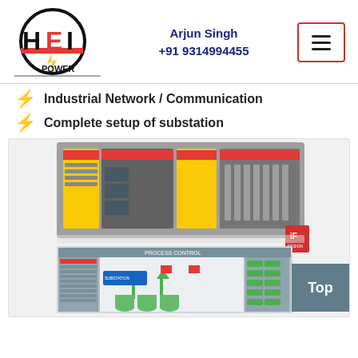[Figure (logo): HEI Power logo — circular black ring with stylized H-E-I letters in black and red, red lightning bolt, and 'POWER' text below]
Arjun Singh
+91 9314994455
[Figure (other): Hamburger menu icon button with three horizontal lines, inside a red-bordered rounded rectangle]
Industrial Network / Communication
Complete setup of substation
[Figure (photo): Industrial PLC/automation hardware — gray and yellow modular controller units with red accent strips mounted on a rack, and below it a SCADA/HMI screenshot showing a process control flow diagram with valves, tanks, and arrows]
Top